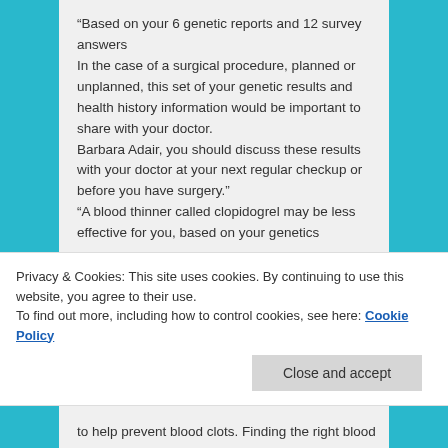“Based on your 6 genetic reports and 12 survey answers
In the case of a surgical procedure, planned or unplanned, this set of your genetic results and health history information would be important to share with your doctor.
Barbara Adair, you should discuss these results with your doctor at your next regular checkup or before you have surgery.”
“A blood thinner called clopidogrel may be less effective for you, based on your genetics
Privacy & Cookies: This site uses cookies. By continuing to use this website, you agree to their use.
To find out more, including how to control cookies, see here: Cookie Policy
Close and accept
to help prevent blood clots. Finding the right blood